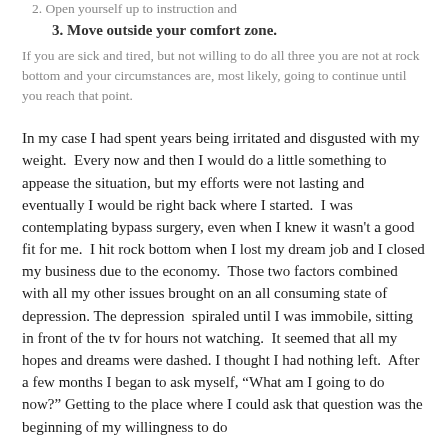2. Open yourself up to instruction and
3. Move outside your comfort zone.
If you are sick and tired, but not willing to do all three you are not at rock bottom and your circumstances are, most likely, going to continue until you reach that point.
In my case I had spent years being irritated and disgusted with my weight.  Every now and then I would do a little something to appease the situation, but my efforts were not lasting and eventually I would be right back where I started.  I was contemplating bypass surgery, even when I knew it wasn't a good fit for me.  I hit rock bottom when I lost my dream job and I closed my business due to the economy.  Those two factors combined with all my other issues brought on an all consuming state of depression. The depression  spiraled until I was immobile, sitting in front of the tv for hours not watching.  It seemed that all my hopes and dreams were dashed. I thought I had nothing left.  After a few months I began to ask myself, "What am I going to do now?" Getting to the place where I could ask that question was the beginning of my willingness to do